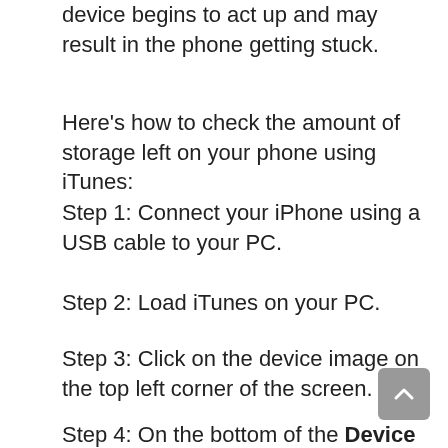Once you are short of memory space, the device begins to act up and may result in the phone getting stuck.
Here's how to check the amount of storage left on your phone using iTunes:
Step 1: Connect your iPhone using a USB cable to your PC.
Step 2: Load iTunes on your PC.
Step 3: Click on the device image on the top left corner of the screen.
Step 4: On the bottom of the Device Summary Page, you should see color codes depicting